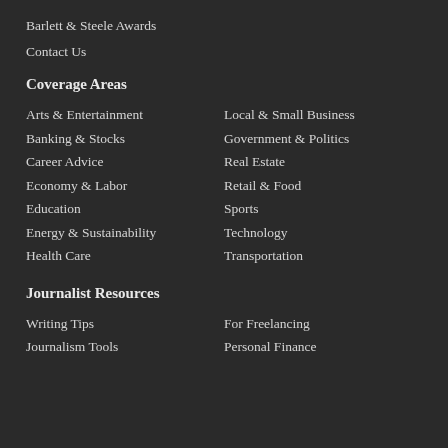Barlett & Steele Awards
Contact Us
Coverage Areas
Arts & Entertainment
Local & Small Business
Banking & Stocks
Government & Politics
Career Advice
Real Estate
Economy & Labor
Retail & Food
Education
Sports
Energy & Sustainability
Technology
Health Care
Transportation
Journalist Resources
Writing Tips
For Freelancing
Journalism Tools
Personal Finance